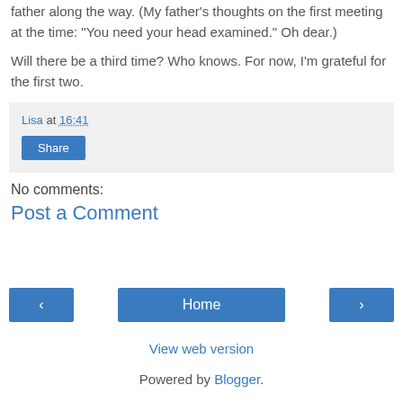father along the way. (My father's thoughts on the first meeting at the time: "You need your head examined." Oh dear.)
Will there be a third time? Who knows. For now, I'm grateful for the first two.
Lisa at 16:41
Share
No comments:
Post a Comment
‹
Home
›
View web version
Powered by Blogger.